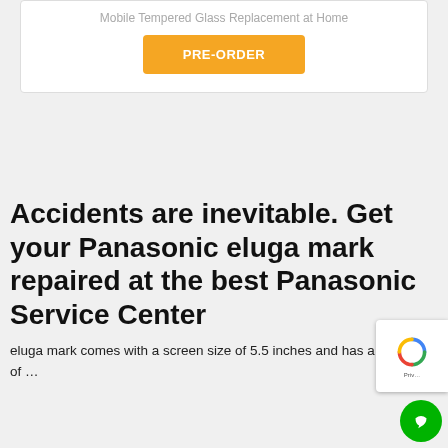Mobile Tempered Glass Replacement at Home
PRE-ORDER
Accidents are inevitable. Get your Panasonic eluga mark repaired at the best Panasonic Service Center
eluga mark comes with a screen size of 5.5 inches and has a resolution of …